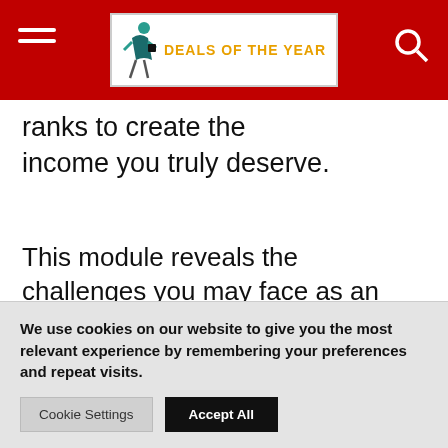DEALS OF THE YEAR
ranks to create the income you truly deserve.
This module reveals the challenges you may face as an affiliate marketer, along with strategies to ensure prospects buy through your affiliate link instead of someone else’s link.
We use cookies on our website to give you the most relevant experience by remembering your preferences and repeat visits.